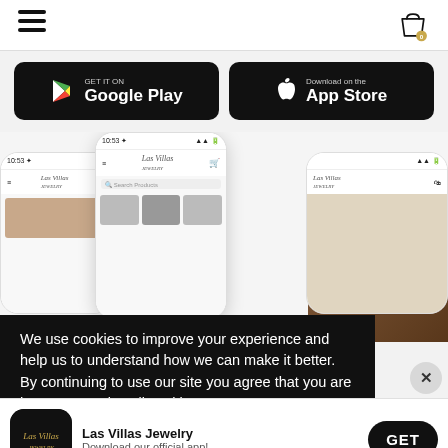[Figure (screenshot): Navigation bar with hamburger menu icon on left and shopping bag icon with '0' badge on right]
[Figure (screenshot): Google Play and App Store download buttons on dark rounded rectangles]
[Figure (screenshot): Three phone mockups showing Las Villas Jewelry app interface with search and product thumbnails, partially overlapping a product/jewelry photo]
We use cookies to improve your experience and help us to understand how we can make it better. By continuing to use our site you agree that you are happy to receive all cookies.  Learn More
[Figure (screenshot): App download banner showing Las Villas Jewelry app icon, app name 'Las Villas Jewelry', tagline 'Download our official app!', and a GET button. Also shows X close button.]
app g...  tions